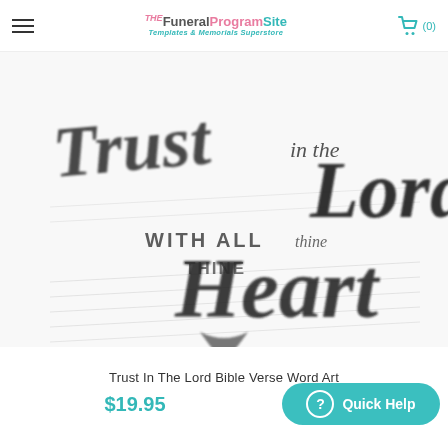The FuneralProgramSite Templates & Memorials Superstore
[Figure (illustration): Decorative calligraphy word art featuring the text 'Trust in the Lord with all thine Heart' in black script lettering on a white textured background, slightly blurred/soft-focus rendering]
Trust In The Lord Bible Verse Word Art
$19.95
? Quick Help